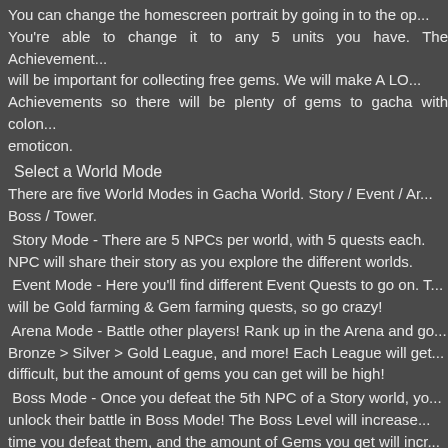You can change the homescreen portrait by going in to the op... You're able to change it to any 5 units you have. The Achievement... will be important for collecting free gems. We will make A LO... Achievements so there will be plenty of gems to gacha with colon... emoticon.
Select a World Mode
There are five World Modes in Gacha World. Story / Event / Ar... Boss / Tower.
Story Mode - There are 5 NPCs per world, with 5 quests each. NPC will share their story as you explore the different worlds.
Event Mode - Here you'll find different Event Quests to go on. T... will be Gold farming & Gem farming quests, so go crazy!
Arena Mode - Battle other players! Rank up in the Arena and go... Bronze > Silver > Gold League, and more! Each League will get... difficult, but the amount of gems you can get will be high!
Boss Mode - Once you defeat the 5th NPC of a Story world, yo... unlock their battle in Boss Mode! The Boss Level will increase... time you defeat them, and the amount of Gems you get will incr... too!
Tower Mode - 100 Floors! You will run across the tower encount... enemies. However, you will exit battle without your HP recove... There will be a Safe room every 5 floors, if you lose you'll nee... restart!